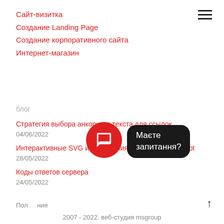Сайт-визитка
Создание Landing Page
Создание корпоративного сайта
Интернет-магазин
блог
Стратегия выбора анкорного текста для ссылок
04/06/2022
Интерактивные SVG изображения на CSS и JavaScript
28/05/2022
Коды ответов сервера
24/05/2022
[Figure (infographic): Red circle chat icon button and dark rounded chat bubble with text 'Маєте запитання?']
Пол...льс...ние
2007 - 2022. веб-студия msgroup